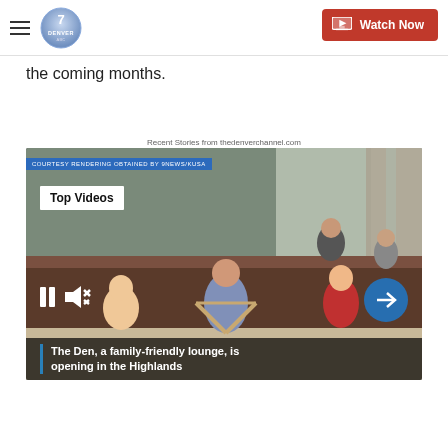Denver7 | Watch Now
the coming months.
Recent Stories from thedenverchannel.com
[Figure (screenshot): Video thumbnail showing a family-friendly lounge interior with parents and children playing. Overlays include 'COURTESY RENDERING OBTAINED BY 9NEWS/KUSA', 'Top Videos' badge, pause and mute controls, a next-arrow button, and a caption bar reading 'The Den, a family-friendly lounge, is opening in the Highlands']
The Den, a family-friendly lounge, is opening in the Highlands